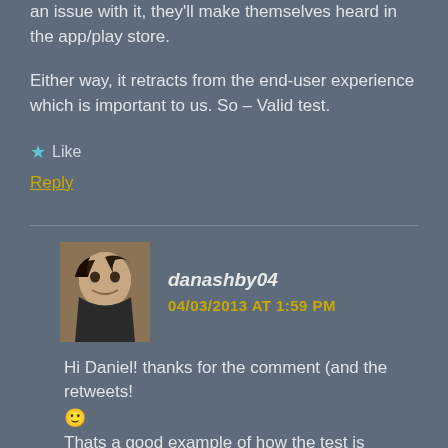an issue with it, they'll make themselves heard in the app/play store.
Either way, it retracts from the end-user experience which is important to us. So – Valid test.
★ Like
Reply
danashby04
04/03/2013 AT 1:59 PM
Hi Daniel! thanks for the comment (and the retweets! 🙂 Thats a good example of how the test is valuable for your app!